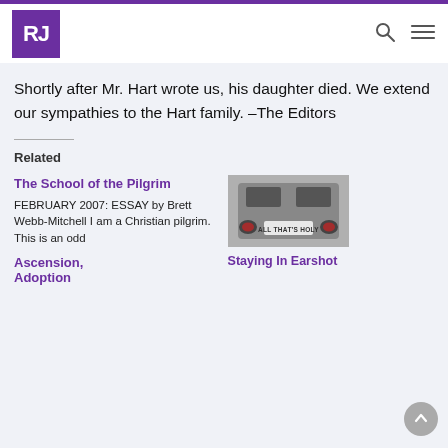RJ
Shortly after Mr. Hart wrote us, his daughter died. We extend our sympathies to the Hart family. –The Editors
Related
The School of the Pilgrim
FEBRUARY 2007: ESSAY by Brett Webb-Mitchell I am a Christian pilgrim. This is an odd
[Figure (photo): Rear of a car with a license plate reading ALL THAT'S HOLY, in black and white.]
Staying In Earshot
Ascension, Adoption